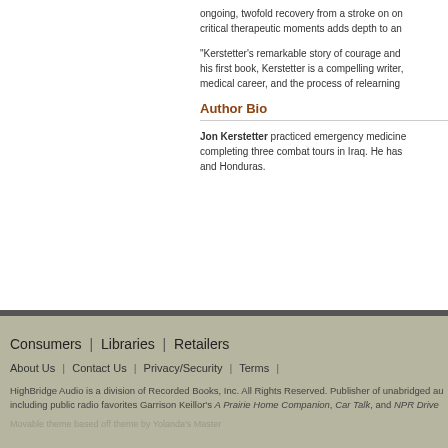ongoing, twofold recovery from a stroke on on... critical therapeutic moments adds depth to an...
"Kerstetter's remarkable story of courage and... his first book, Kerstetter is a compelling writer,... medical career, and the process of relearning...
Author Bio
Jon Kerstetter practiced emergency medicine... completing three combat tours in Iraq. He has... and Honduras.
Consumers | Libraries | Retailers
About Us | Contact Us | Privacy/Security | Terms |
HighBridge Audio is a division of Recorded Books, Inc. All Rights Reserved. Publisher of unabridged au... including public radio favorites Garrison Keillor's A Prairie Home Companion, Car Talk, and NPR Drive...
Movable theme based off theme by Yolanda's Master